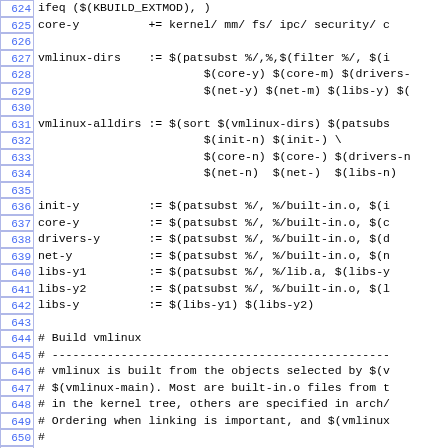[Figure (screenshot): Source code listing of a Linux kernel Makefile, lines 624-653, showing vmlinux build configuration with line numbers on the left in blue, and monospace code on the right.]